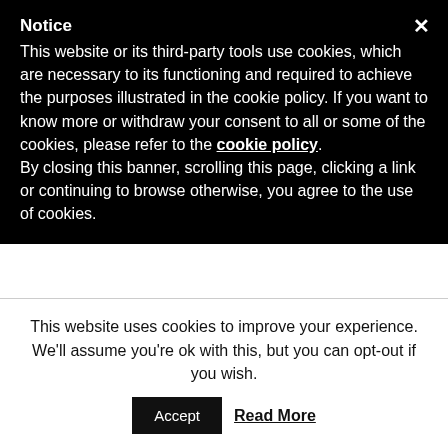Notice
This website or its third-party tools use cookies, which are necessary to its functioning and required to achieve the purposes illustrated in the cookie policy. If you want to know more or withdraw your consent to all or some of the cookies, please refer to the cookie policy.
By closing this banner, scrolling this page, clicking a link or continuing to browse otherwise, you agree to the use of cookies.
Darko
August 2, 2017 at 10:54 AM
Great show! Thanks to all for the valueable insights!
Reply
This website uses cookies to improve your experience. We'll assume you're ok with this, but you can opt-out if you wish.
Accept
Read More